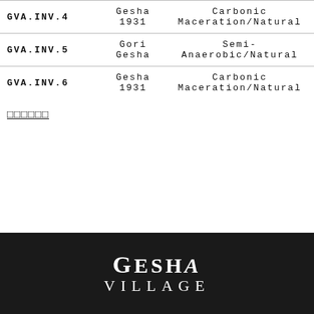| Code | Variety | Process |
| --- | --- | --- |
| GVA.INV.4 | Gesha 1931 | Carbonic Maceration/Natural |
| GVA.INV.5 | Gori Gesha | Semi-Anaerobic/Natural |
| GVA.INV.6 | Gesha 1931 | Carbonic Maceration/Natural |
□□□□□□
[Figure (logo): Gesha Village logo — white text on dark background reading GESHA VILLAGE]